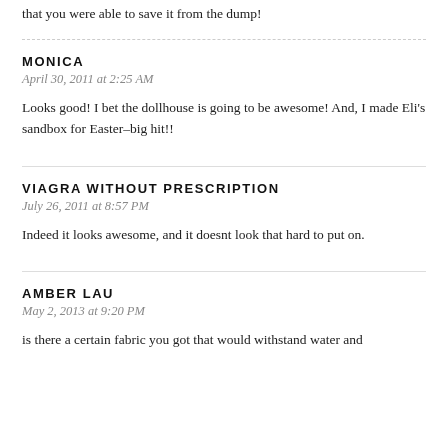that you were able to save it from the dump!
MONICA
April 30, 2011 at 2:25 AM
Looks good! I bet the dollhouse is going to be awesome! And, I made Eli's sandbox for Easter–big hit!!
VIAGRA WITHOUT PRESCRIPTION
July 26, 2011 at 8:57 PM
Indeed it looks awesome, and it doesnt look that hard to put on.
AMBER LAU
May 2, 2013 at 9:20 PM
is there a certain fabric you got that would withstand water and